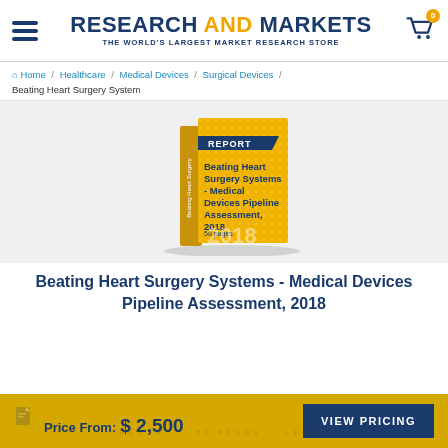RESEARCH AND MARKETS — THE WORLD'S LARGEST MARKET RESEARCH STORE
Home / Healthcare / Medical Devices / Surgical Devices / Beating Heart Surgery System
[Figure (illustration): 3D book cover illustration titled 'Beating Heart Surgery Systems - Medical Devices Pipeline Assessment, 2018', 58 pages, yellow/gold cover with dark blue REPORT banner]
Beating Heart Surgery Systems - Medical Devices Pipeline Assessment, 2018
Price From: $ 2,500  VIEW PRICING